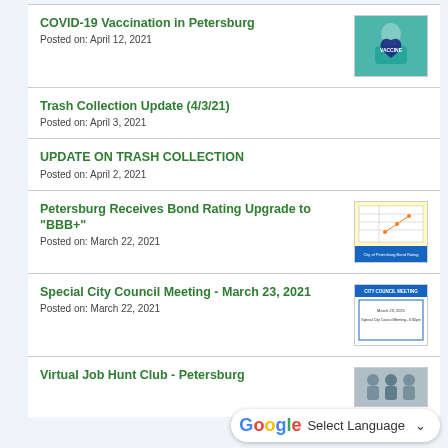COVID-19 Vaccination in Petersburg
Posted on: April 12, 2021
Trash Collection Update (4/3/21)
Posted on: April 3, 2021
UPDATE ON TRASH COLLECTION
Posted on: April 2, 2021
Petersburg Receives Bond Rating Upgrade to "BBB+"
Posted on: March 22, 2021
Special City Council Meeting - March 23, 2021
Posted on: March 22, 2021
Virtual Job Hunt Club - Petersburg